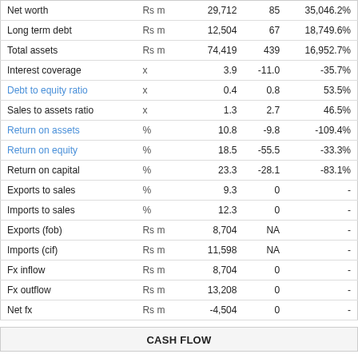|  |  |  |  |  |
| --- | --- | --- | --- | --- |
| Net worth | Rs m | 29,712 | 85 | 35,046.2% |
| Long term debt | Rs m | 12,504 | 67 | 18,749.6% |
| Total assets | Rs m | 74,419 | 439 | 16,952.7% |
| Interest coverage | x | 3.9 | -11.0 | -35.7% |
| Debt to equity ratio | x | 0.4 | 0.8 | 53.5% |
| Sales to assets ratio | x | 1.3 | 2.7 | 46.5% |
| Return on assets | % | 10.8 | -9.8 | -109.4% |
| Return on equity | % | 18.5 | -55.5 | -33.3% |
| Return on capital | % | 23.3 | -28.1 | -83.1% |
| Exports to sales | % | 9.3 | 0 | - |
| Imports to sales | % | 12.3 | 0 | - |
| Exports (fob) | Rs m | 8,704 | NA | - |
| Imports (cif) | Rs m | 11,598 | NA | - |
| Fx inflow | Rs m | 8,704 | 0 | - |
| Fx outflow | Rs m | 13,208 | 0 | - |
| Net fx | Rs m | -4,504 | 0 | - |
CASH FLOW